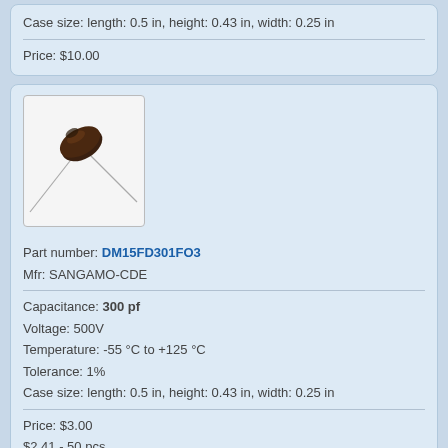Case size: length: 0.5 in, height: 0.43 in, width: 0.25 in
Price: $10.00
[Figure (photo): Photograph of a silver mica capacitor with brown disc body and two long leads]
Part number: DM15FD301FO3
Mfr: SANGAMO-CDE
Capacitance: 300 pf
Voltage: 500V
Temperature: -55 °C to +125 °C
Tolerance: 1%
Case size: length: 0.5 in, height: 0.43 in, width: 0.25 in
Price: $3.00
$2.41 - 50 pcs
[Figure (photo): Photograph of a silver mica capacitor with brown disc body and two long leads]